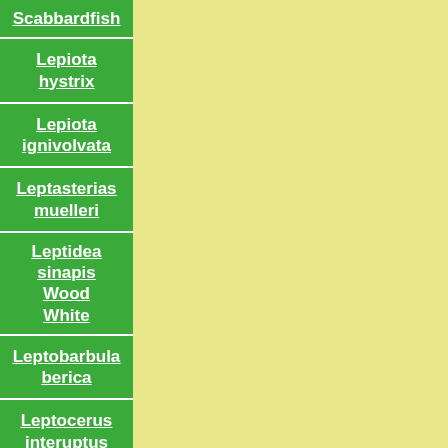Scabbardfish
Lepiota hystrix
Lepiota ignivolvata
Leptasterias muelleri
Leptidea sinapis Wood White
Leptobarbula berica
Leptocerus interuptus
Leptocheirus